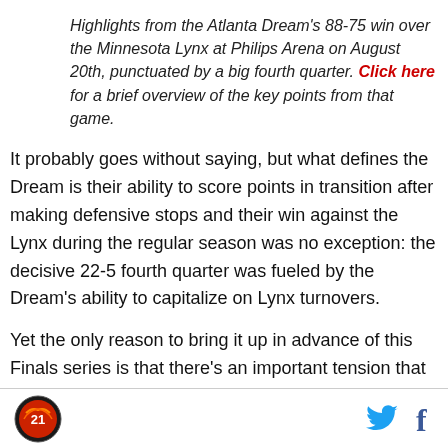Highlights from the Atlanta Dream's 88-75 win over the Minnesota Lynx at Philips Arena on August 20th, punctuated by a big fourth quarter. Click here for a brief overview of the key points from that game.
It probably goes without saying, but what defines the Dream is their ability to score points in transition after making defensive stops and their win against the Lynx during the regular season was no exception: the decisive 22-5 fourth quarter was fueled by the Dream's ability to capitalize on Lynx turnovers.
Yet the only reason to bring it up in advance of this Finals series is that there’s an important tension that